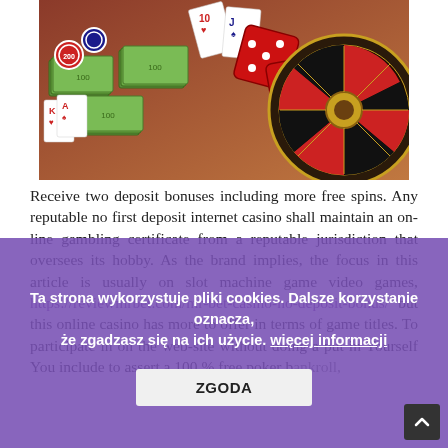[Figure (photo): Photo of casino items: stacks of euro banknotes, playing cards, red dice, and a roulette wheel on a table]
Receive two deposit bonuses including more free spins. Any reputable no first deposit internet casino shall maintain an on-line gambling certificate from a reputable jurisdiction that oversees its hobby. As the brand implies, the focus in this article is usually on slot machine game video games, https://reviewmrbet.com/mr-bet-casino-no-deposit-bonus/ but this online casino has more to offer in terms of game titles. To participate in on the web-site without doing a put in Yourself You include to assert a 100 % free poker bankroll, casinos after finding room to play and actually cash in pre-existing people compared , signifies you must participate in through your bonus offer sum or 100 % free
Ta strona wykorzystuje pliki cookies. Dalsze korzystanie oznacza, że zgadzasz się na ich użycie. więcej informacji ZGODA